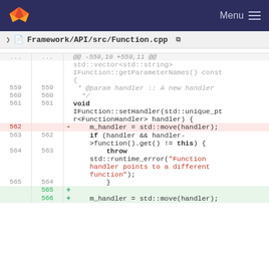Menu
Framework/API/src/Function.cpp
[Figure (screenshot): GitLab unified diff view of Framework/API/src/Function.cpp showing lines 559-566. Hunk header: @@ -559,10 +559,11 @@. Context lines show std::vector<std::string> IFunction::getParameterNames() const {. Lines 559-561 show comment * @param handler :: A new handler */ and void IFunction::setHandler(std::unique_ptr<FunctionHandler> handler) {. Line 562 is deleted: m_handler = std::move(handler);. Lines 563-565 show if (handler && handler->function().get() != this) { throw std::runtime_error("Function handler points to a different function"); }. Lines 565-566 are added green lines: + and + m_handler = std::move(handler);]